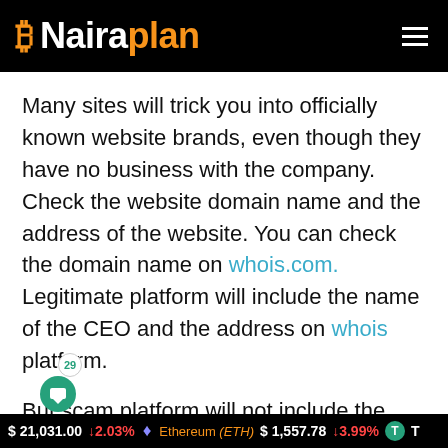Nairaplan
Many sites will trick you into officially known website brands, even though they have no business with the company. Check the website domain name and the address of the website. You can check the domain name on whois.com. Legitimate platform will include the name of the CEO and the address on whois platform.
But scam platform will not include the name of the CEO and the address on the whois
$ 21,031.00 ↓2.03% Ethereum (ETH) $ 1,557.78 ↓3.99% T